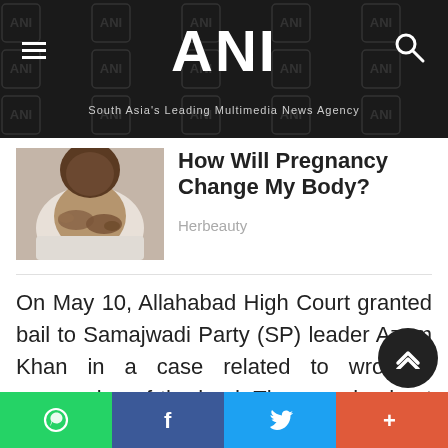ANI - South Asia's Leading Multimedia News Agency
[Figure (photo): Close-up photo of a pregnant woman cradling her baby bump]
How Will Pregnancy Change My Body?
Herbeauty
On May 10, Allahabad High Court granted bail to Samajwadi Party (SP) leader Azam Khan in a case related to wrongful possession of the land. The case is about wrongful possession of Waqf Board property.
The Allahabad HC had given...